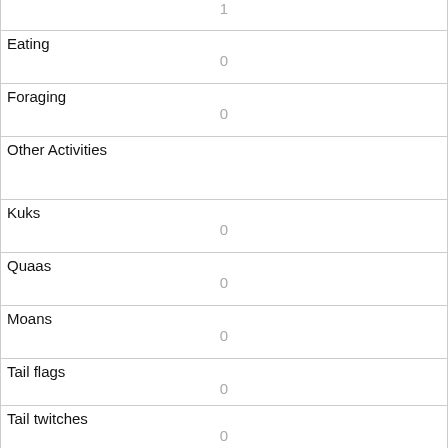| (top row value) | 1 |
| Eating | 0 |
| Foraging | 0 |
| Other Activities |  |
| Kuks | 0 |
| Quaas | 0 |
| Moans | 0 |
| Tail flags | 0 |
| Tail twitches | 0 |
| Approaches | 1 |
| Indifferent | 0 |